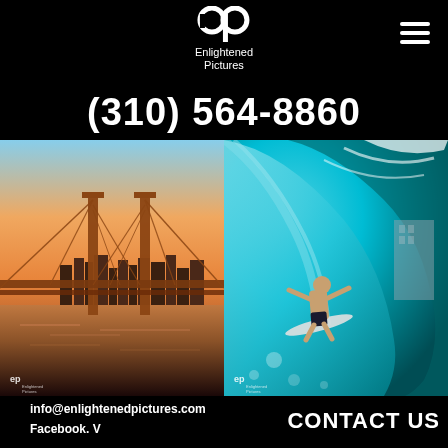[Figure (logo): Enlightened Pictures logo with stylized 'ep' monogram above text 'Enlightened Pictures']
(310) 564-8860
[Figure (photo): Bay Bridge and San Francisco skyline at sunset/golden hour, reflected in water]
[Figure (photo): Surfer riding inside a large ocean wave, turquoise water, city in background]
info@enlightenedpictures.com
Facebook. V
CONTACT US